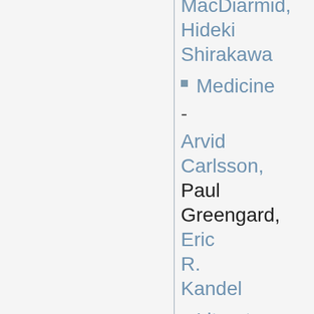MacDiarmid, Hideki Shirakawa
Medicine
- Arvid Carlsson, Paul Greengard, Eric R. Kandel
Literature
- Gao Xingjian